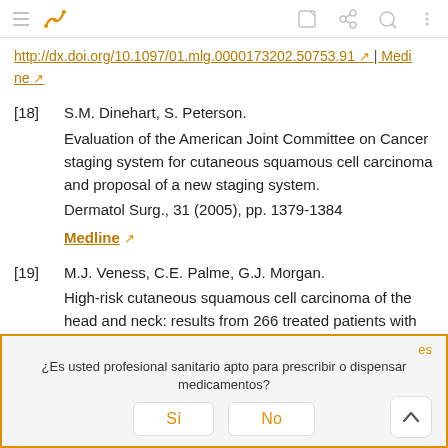toolbar with navigation icons
http://dx.doi.org/10.1097/01.mlg.0000173202.50753.91 ↗ | Medline ↗
[18] S.M. Dinehart, S. Peterson.
Evaluation of the American Joint Committee on Cancer staging system for cutaneous squamous cell carcinoma and proposal of a new staging system.
Dermatol Surg., 31 (2005), pp. 1379-1384
Medline ↗
[19] M.J. Veness, C.E. Palme, G.J. Morgan.
High-risk cutaneous squamous cell carcinoma of the head and neck: results from 266 treated patients with metastatic lymph node
¿Es usted profesional sanitario apto para prescribir o dispensar medicamentos?
Sí   No